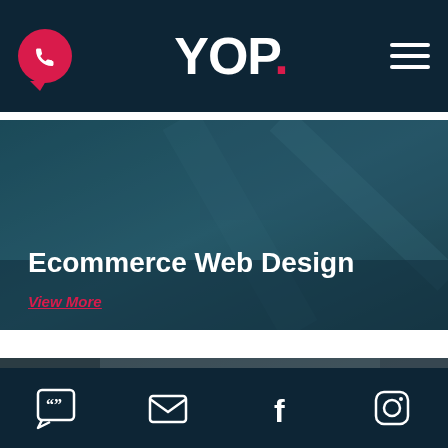YOP. navigation bar with phone icon and hamburger menu
Ecommerce Web Design
View More
[Figure (photo): Dark teal background photo card for Ecommerce Web Design section with overlay image of a street or building scene]
[Figure (photo): Photo of a hanging shop sign with red lettering on white board, chain-mounted, against dark teal building facade]
Footer bar with icons: chat/quote, email, Facebook, Instagram